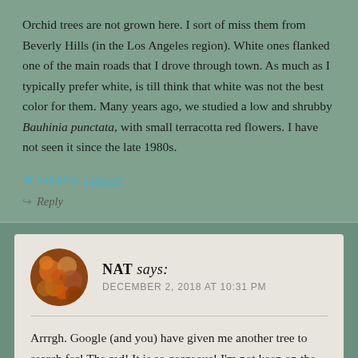Orchid trees are not grown here. I sort of miss them from Beverly Hills (in the Los Angeles region). White ones flanked one of the main roads that I drove through town. As much as I typically prefer white, is till think that white was not the best color for them. Many years ago, we studied a low and shrubby Bauhinia punctata, with small terracotta red flowers. I have not seen it since the late 1980s.
★ Liked by 1 person
↪ Reply
NAT says:
DECEMBER 2, 2018 AT 10:31 PM
Arrrgh. Google (and you) have given me another tree to search for! The red! It is so gorgeous! I'm not keen on the white Bauhinia either. Lots of purpley pinks and some white here but